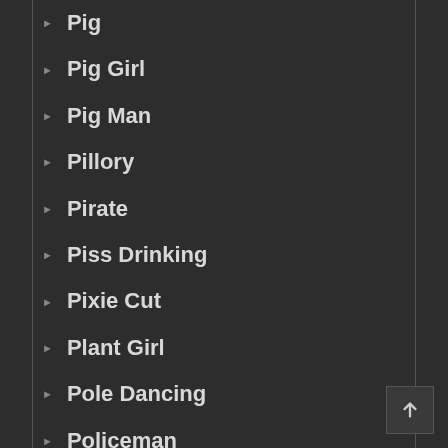Pig
Pig Girl
Pig Man
Pillory
Pirate
Piss Drinking
Pixie Cut
Plant Girl
Pole Dancing
Policeman
Policewoman
Ponytail
Poor Grammar